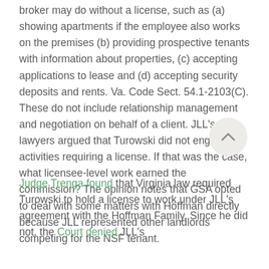broker may do without a license, such as (a) showing apartments if the employee also works on the premises (b) providing prospective tenants with information about properties, (c) accepting applications to lease and (d) accepting security deposits and rents. Va. Code Sect. 54.1-2103(C). These do not include relationship management and negotiation on behalf of a client. JLL's lawyers argued that Turowski did not engage in activities requiring a license. If that was the case, what licensee-level work earned the commission? The opinion notes that GSA opted to deal with some matters with Hoffman directly because JLL represented other landlords competing for the NSF tenant.
Judge Trenga found that Virginia law required Turowski to hold a license to work under JLL's agreement with the Hoffman Family. Since he did not, the Court denied JLL's